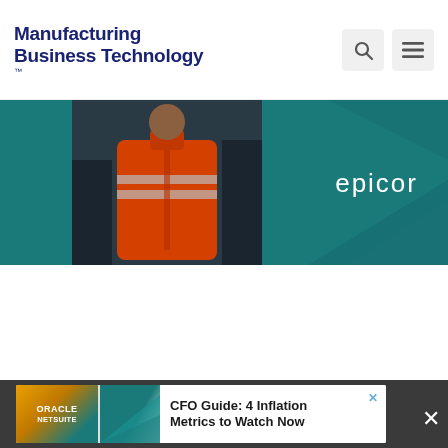Manufacturing Business Technology
[Figure (photo): Epicor branded banner image showing a person in an orange high-visibility jacket with the Epicor logo on a teal/dark background]
[Figure (infographic): Oracle NetSuite advertisement: CFO Guide: 4 Inflation Metrics to Watch Now]